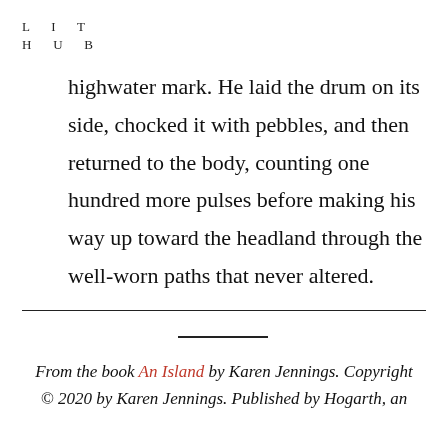LIT
HUB
highwater mark. He laid the drum on its side, chocked it with pebbles, and then returned to the body, counting one hundred more pulses before making his way up toward the headland through the well-worn paths that never altered.
From the book An Island by Karen Jennings. Copyright © 2020 by Karen Jennings. Published by Hogarth, an